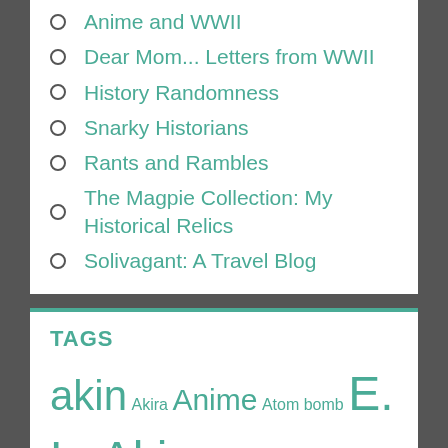Anime and WWII
Dear Mom... Letters from WWII
History Randomness
Snarky Historians
Rants and Rambles
The Magpie Collection: My Historical Relics
Solivagant: A Travel Blog
TAGS
akin Akira Anime Atom bomb E. L. Akin Eastern Front Elizabeth Akin Hiroshima Historical musings Japanese Nagasaki navy nazi Nuclear bomb